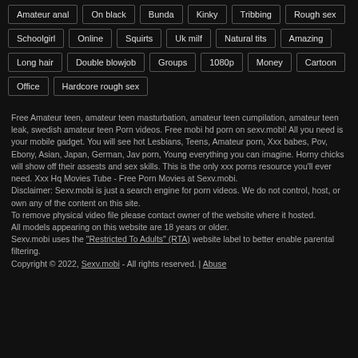Amateur anal, On black, Bunda, Kinky, Tribbing, Rough sex
Schoolgirl, Online, Squirts, Uk milf, Natural tits, Amazing
Long hair, Double blowjob, Groups, 1080p, Money, Cartoon
Office, Hardcore rough sex
Free Amateur teen, amateur teen masturbation, amateur teen cumpilation, amateur teen leak, swedish amateur teen Porn videos. Free mobi hd porn on sexv.mobi! All you need is your mobile gadget. You will see hot Lesbians, Teens, Amateur porn, Xxx babes, Pov, Ebony, Asian, Japan, German, Jav porn, Young everything you can imagine. Horny chicks will show off their assests and sex skills. This is the only xxx porns resource you'll ever need. Xxx Hq Movies Tube - Free Porn Movies at Sexv.mobi.
Disclaimer: Sexv.mobi is just a search engine for porn videos. We do not control, host, or own any of the content on this site.
To remove physical video file please contact owner of the website where it hosted.
All models appearing on this website are 18 years or older.
Sexv.mobi uses the "Restricted To Adults" (RTA) website label to better enable parental filtering.
Copyright © 2022, Sexv.mobi - All rights reserved. | Abuse